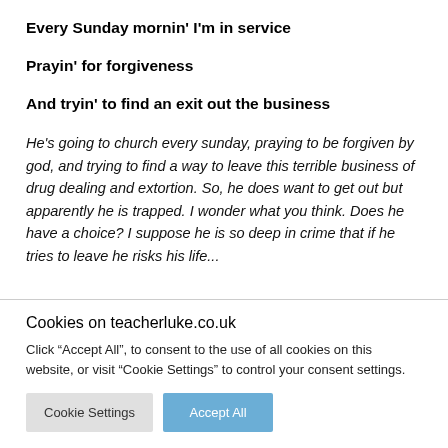Every Sunday mornin' I'm in service
Prayin' for forgiveness
And tryin' to find an exit out the business
He's going to church every sunday, praying to be forgiven by god, and trying to find a way to leave this terrible business of drug dealing and extortion. So, he does want to get out but apparently he is trapped. I wonder what you think. Does he have a choice? I suppose he is so deep in crime that if he tries to leave he risks his life...
Cookies on teacherluke.co.uk
Click “Accept All”, to consent to the use of all cookies on this website, or visit “Cookie Settings” to control your consent settings.